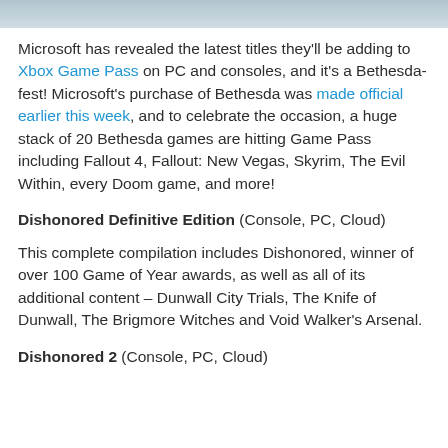[Figure (photo): Partial image visible at the top of the page, appears to be a header image related to gaming content.]
Microsoft has revealed the latest titles they'll be adding to Xbox Game Pass on PC and consoles, and it's a Bethesda-fest! Microsoft's purchase of Bethesda was made official earlier this week, and to celebrate the occasion, a huge stack of 20 Bethesda games are hitting Game Pass including Fallout 4, Fallout: New Vegas, Skyrim, The Evil Within, every Doom game, and more!
Dishonored Definitive Edition (Console, PC, Cloud)
This complete compilation includes Dishonored, winner of over 100 Game of Year awards, as well as all of its additional content – Dunwall City Trials, The Knife of Dunwall, The Brigmore Witches and Void Walker's Arsenal.
Dishonored 2 (Console, PC, Cloud)